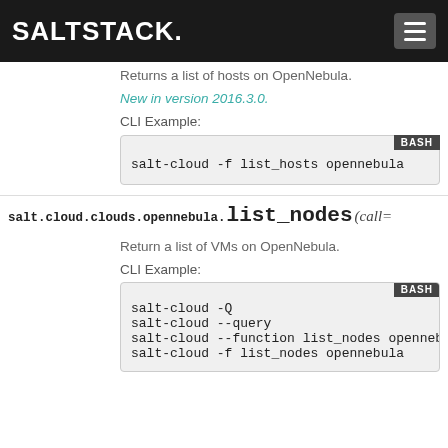SALTSTACK
Returns a list of hosts on OpenNebula.
New in version 2016.3.0.
CLI Example:
[Figure (screenshot): BASH code block: salt-cloud -f list_hosts opennebula]
salt.cloud.clouds.opennebula.list_nodes(call=...
Return a list of VMs on OpenNebula.
CLI Example:
[Figure (screenshot): BASH code block: salt-cloud -Q
salt-cloud --query
salt-cloud --function list_nodes opennebula
salt-cloud -f list_nodes opennebula]